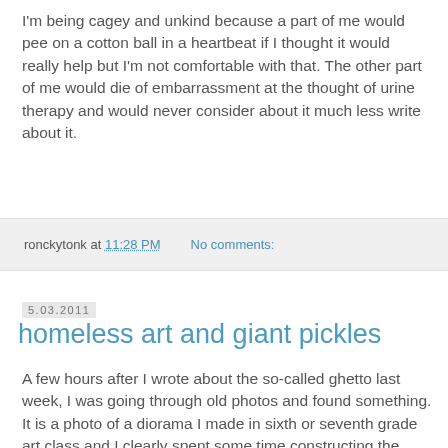I'm being cagey and unkind because a part of me would pee on a cotton ball in a heartbeat if I thought it would really help but I'm not comfortable with that. The other part of me would die of embarrassment at the thought of urine therapy and would never consider about it much less write about it.
ronckytonk at 11:28 PM    No comments:
5.03.2011
homeless art and giant pickles
A few hours after I wrote about the so-called ghetto last week, I was going through old photos and found something. It is a photo of a diorama I made in sixth or seventh grade art class and I clearly spent some time constructing the simple three dimensional scene out of pieces of poster board and colored pencils. When I saw the photo the other day, though, I gaped because it is a homeless scene. I MADE A HOMELESS DIORAMA? I do not remember this but I'm not surprised. This diorama illustrates that my house may have